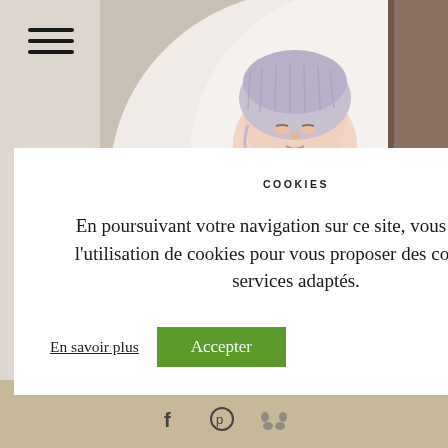[Figure (photo): Newborn baby sleeping in a white fluffy blanket/box, wearing a knitted grey bonnet/hat. Photography studio newborn portrait.]
COOKIES
En poursuivant votre navigation sur ce site, vous acceptez l'utilisation de cookies pour vous proposer des contenus et services adaptés.
En savoir plus   Accepter
f  ⓟ  🐾